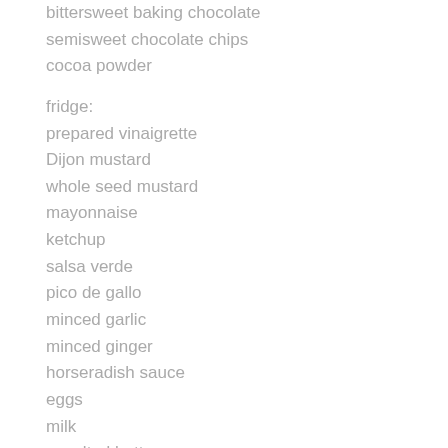bittersweet baking chocolate
semisweet chocolate chips
cocoa powder
fridge:
prepared vinaigrette
Dijon mustard
whole seed mustard
mayonnaise
ketchup
salsa verde
pico de gallo
minced garlic
minced ginger
horseradish sauce
eggs
milk
unsalted butter